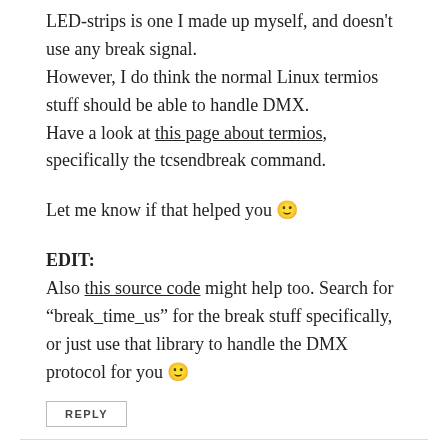LED-strips is one I made up myself, and doesn't use any break signal.
However, I do think the normal Linux termios stuff should be able to handle DMX.
Have a look at this page about termios, specifically the tcsendbreak command.
Let me know if that helped you 🙂
EDIT:
Also this source code might help too. Search for "break_time_us" for the break stuff specifically, or just use that library to handle the DMX protocol for you 🙂
REPLY
Kiste